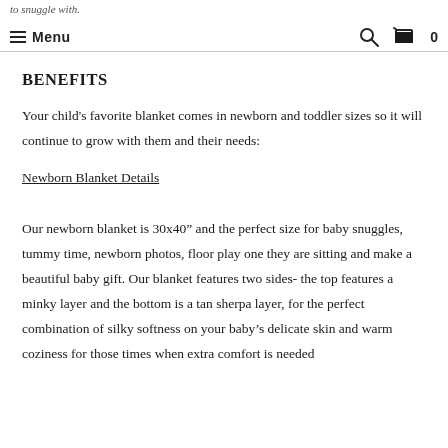to snuggle with. Menu [search] [cart] 0
BENEFITS
Your child's favorite blanket comes in newborn and toddler sizes so it will continue to grow with them and their needs:
Newborn Blanket Details
Our newborn blanket is 30x40” and the perfect size for baby snuggles, tummy time, newborn photos, floor play one they are sitting and make a beautiful baby gift. Our blanket features two sides- the top features a minky layer and the bottom is a tan sherpa layer, for the perfect combination of silky softness on your baby’s delicate skin and warm coziness for those times when extra comfort is needed